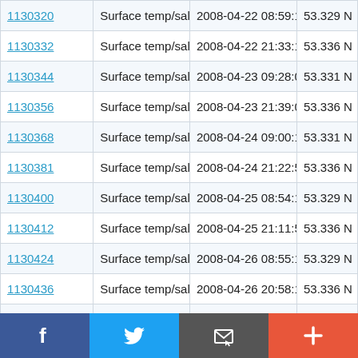| ID | Type | Date/Time | Value |
| --- | --- | --- | --- |
| 1130320 | Surface temp/sal | 2008-04-22 08:59:18 | 53.329 N |
| 1130332 | Surface temp/sal | 2008-04-22 21:33:11 | 53.336 N |
| 1130344 | Surface temp/sal | 2008-04-23 09:28:05 | 53.331 N |
| 1130356 | Surface temp/sal | 2008-04-23 21:39:08 | 53.336 N |
| 1130368 | Surface temp/sal | 2008-04-24 09:00:12 | 53.331 N |
| 1130381 | Surface temp/sal | 2008-04-24 21:22:55 | 53.336 N |
| 1130400 | Surface temp/sal | 2008-04-25 08:54:19 | 53.329 N |
| 1130412 | Surface temp/sal | 2008-04-25 21:11:53 | 53.336 N |
| 1130424 | Surface temp/sal | 2008-04-26 08:55:16 | 53.329 N |
| 1130436 | Surface temp/sal | 2008-04-26 20:58:10 | 53.336 N |
| 1130448 | Surface temp/sal | 2008-04-27 20:57:47 | 53.329 N |